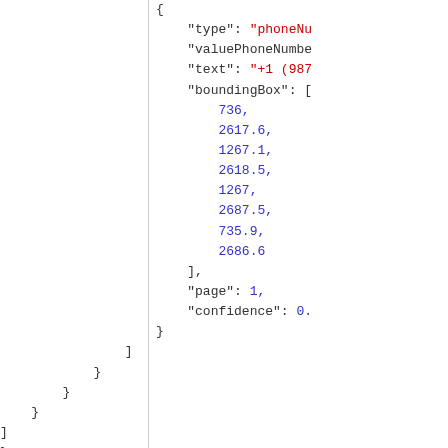{ "type": "phoneNu... "valuePhoneNumbe... "text": "+1 (987... "boundingBox": [ 736, 2617.6, 1267.1, 2618.5, 1267, 2687.5, 735.9, 2686.6 ], "page": 1, "confidence": 0. } ] } } } ] } }